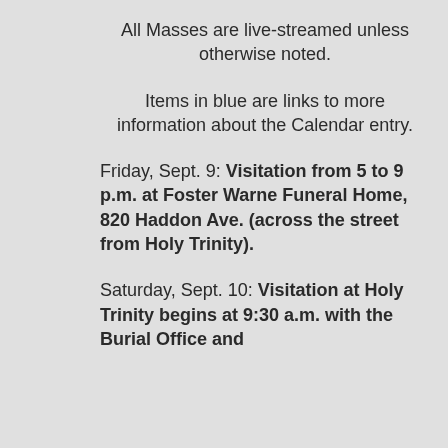All Masses are live-streamed unless otherwise noted.
Items in blue are links to more information about the Calendar entry.
Friday, Sept. 9: Visitation from 5 to 9 p.m. at Foster Warne Funeral Home, 820 Haddon Ave. (across the street from Holy Trinity).
Saturday, Sept. 10: Visitation at Holy Trinity begins at 9:30 a.m. with the Burial Office and